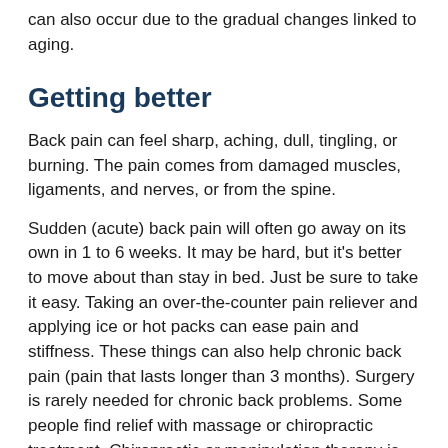can also occur due to the gradual changes linked to aging.
Getting better
Back pain can feel sharp, aching, dull, tingling, or burning. The pain comes from damaged muscles, ligaments, and nerves, or from the spine.
Sudden (acute) back pain will often go away on its own in 1 to 6 weeks. It may be hard, but it’s better to move about than stay in bed. Just be sure to take it easy. Taking an over-the-counter pain reliever and applying ice or hot packs can ease pain and stiffness. These things can also help chronic back pain (pain that lasts longer than 3 months). Surgery is rarely needed for chronic back problems. Some people find relief with massage or chiropractic treatment. Chiropractic or manipulation therapy is provided in many different forms. Check with your health insurance plan to see if